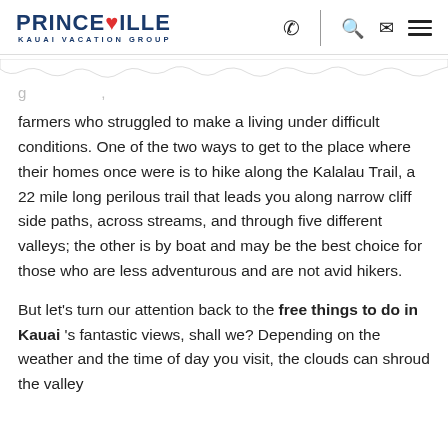PRINCEVILLE KAUAI VACATION GROUP
farmers who struggled to make a living under difficult conditions. One of the two ways to get to the place where their homes once were is to hike along the Kalalau Trail, a 22 mile long perilous trail that leads you along narrow cliff side paths, across streams, and through five different valleys; the other is by boat and may be the best choice for those who are less adventurous and are not avid hikers.
But let’s turn our attention back to the free things to do in Kauai ’s fantastic views, shall we? Depending on the weather and the time of day you visit, the clouds can shroud the valley